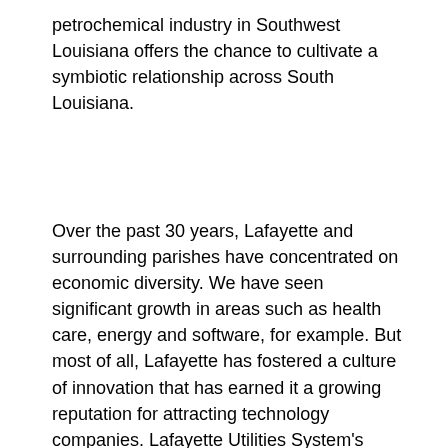petrochemical industry in Southwest Louisiana offers the chance to cultivate a symbiotic relationship across South Louisiana.
Over the past 30 years, Lafayette and surrounding parishes have concentrated on economic diversity. We have seen significant growth in areas such as health care, energy and software, for example. But most of all, Lafayette has fostered a culture of innovation that has earned it a growing reputation for attracting technology companies. Lafayette Utilities System's revolutionary fiber optic network has been a driving force.
As a major research university, UL Lafayette has contributed significantly to the region's high-tech status and job growth. In just the past year, three major technology companies — CGI, Enquero and Perficient — announced they will locate in Lafayette